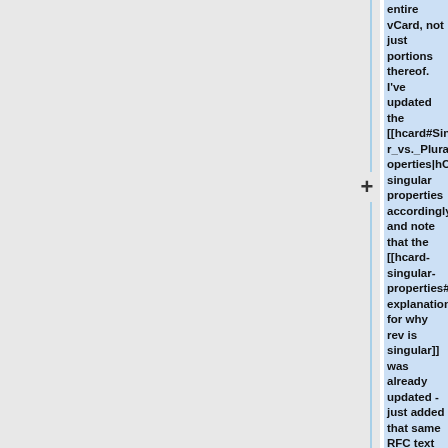entire vCard, not just portions thereof. I've updated the [[hcard#Singular_vs._Plural_Properties|hCard singular properties accordingly]], and note that the [[hcard-singular-properties#rev|explanation for why rev is singular]] was already updated - just added that same RFC text as quoted above.